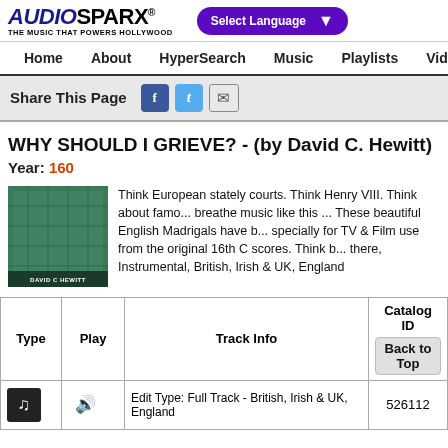AUDIOSPARX - THE MUSIC THAT POWERS HOLLYWOOD
[Figure (screenshot): AudioSparx logo with italic AUDIO in navy and bold SPARX in black, tagline THE MUSIC THAT POWERS HOLLYWOOD]
[Figure (infographic): Purple rounded Select Language dropdown]
Home  About  HyperSearch  Music  Playlists  Videos  Sound
Share This Page [Facebook icon] [Twitter icon] [Email icon]
WHY SHOULD I GRIEVE? - (by David C. Hewitt) Year: 160
[Figure (photo): Album thumbnail image for David C. Hewitt with greenish building/grid background]
Think European stately courts. Think Henry VIII. Think about famo... breathe music like this ... These beautiful English Madrigals have b... specially for TV & Film use from the original 16th C scores. Think b... there, Instrumental, British, Irish & UK, England
| Type | Play | Track Info | Catalog ID |
| --- | --- | --- | --- |
|  |  |  |  |
| [music note] | [speaker] | Edit Type: Full Track - British, Irish & UK, England | 526112 |
Back to Top